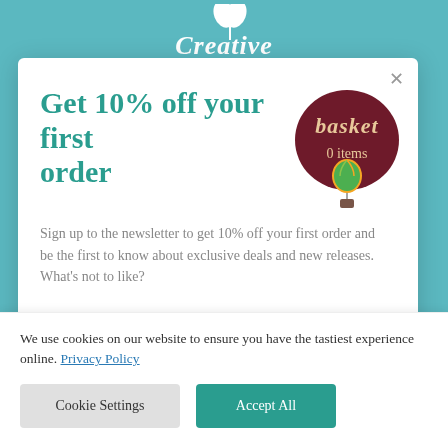[Figure (screenshot): Teal/green website background with 'Creative' logo at top]
Get 10% off your first order
[Figure (logo): Dark red oval badge with 'basket' text and hot air balloon illustration, showing '0 items']
Sign up to the newsletter to get 10% off your first order and be the first to know about exclusive deals and new releases. What's not to like?
Email address (placeholder in input field)
We use cookies on our website to ensure you have the tastiest experience online. Privacy Policy
Cookie Settings
Accept All